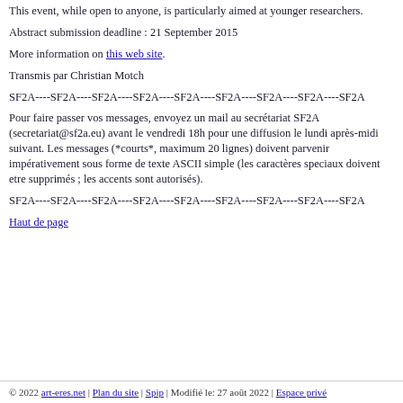This event, while open to anyone, is particularly aimed at younger researchers.
Abstract submission deadline : 21 September 2015
More information on this web site.
Transmis par Christian Motch
SF2A----SF2A----SF2A----SF2A----SF2A----SF2A----SF2A----SF2A----SF2A
Pour faire passer vos messages, envoyez un mail au secrétariat SF2A (secretariat@sf2a.eu) avant le vendredi 18h pour une diffusion le lundi après-midi suivant. Les messages (*courts*, maximum 20 lignes) doivent parvenir impérativement sous forme de texte ASCII simple (les caractères speciaux doivent etre supprimés ; les accents sont autorisés).
SF2A----SF2A----SF2A----SF2A----SF2A----SF2A----SF2A----SF2A----SF2A
Haut de page
© 2022 art-eres.net | Plan du site | Spip | Modifié le: 27 août 2022 | Espace privé